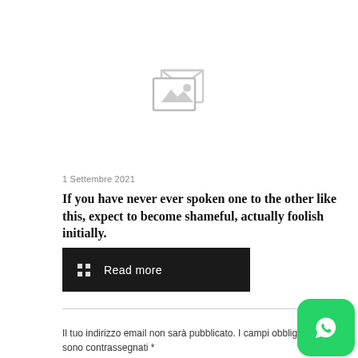[Figure (illustration): Broken/placeholder image icon — a light gray image placeholder icon with a mountain/landscape silhouette inside an envelope-like frame, centered in the upper portion of the page.]
1 Settembre 2021
If you have never ever spoken one to the other like this, expect to become shameful, actually foolish initially.
Read more
Il tuo indirizzo email non sarà pubblicato. I campi obbligatori sono contrassegnati *
[Figure (logo): WhatsApp logo button — green rounded square with white WhatsApp phone handset icon, positioned at bottom right corner.]